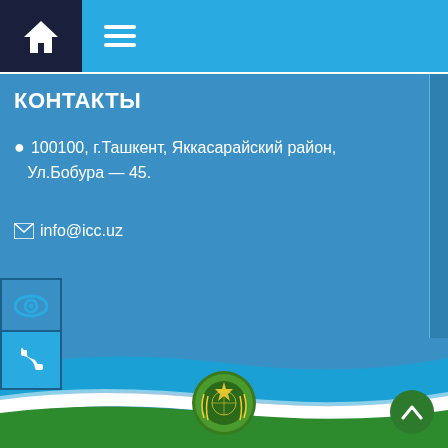home | menu navigation bar
КОНТАКТЫ
100100, г.Ташкент, Яккасарайский район, Ул.Бобура — 45.
info@icc.uz
+99871 253 57 69
+99871 253 57 69
[Figure (illustration): Uzbekistan flag ribbon with national emblem at center, decorative footer banner]